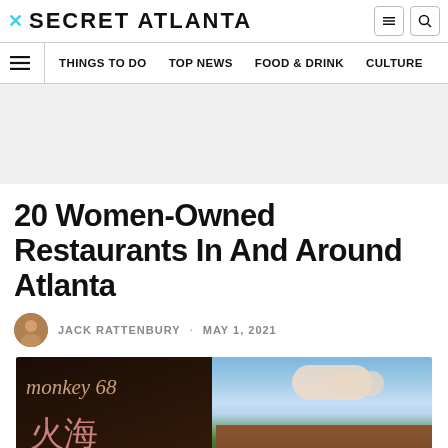SECRET ATLANTA
THINGS TO DO · TOP NEWS · FOOD & DRINK · CULTURE
20 Women-Owned Restaurants In And Around Atlanta
JACK RATTENBURY · MAY 1, 2021
[Figure (photo): Exterior photo of Monkey 68 restaurant sign with building and sky in background]